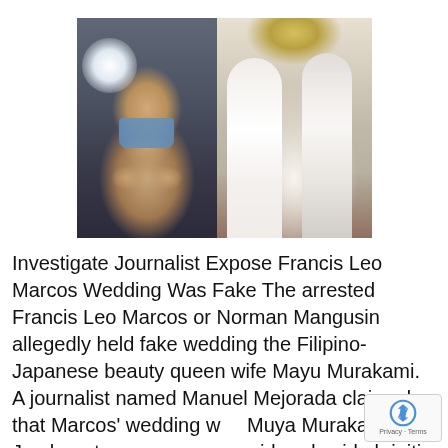[Figure (photo): Two photos side by side: left shows a man wearing a blue face mask with hands raised against a dark background with a bright light; right shows a couple in wedding attire — bride in white gown holding bouquet, groom in white suit with bow tie, in a decorated venue.]
Investigate Journalist Expose Francis Leo Marcos Wedding Was Fake The arrested Francis Leo Marcos or Norman Mangusin allegedly held fake wedding the Filipino-Japanese beauty queen wife Mayu Murakami. A journalist named Manuel Mejorada claimed that Marcos' wedding with Muya Murakami, Fil-Jap beauty queen was considered void ab initio because the